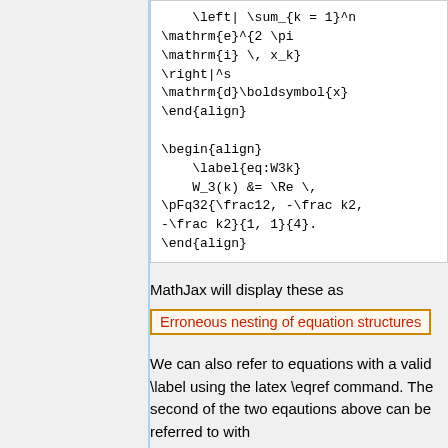\left| \sum_{k = 1}^n
\mathrm{e}^{2 \pi
\mathrm{i} \, x_k}
\right|^s
\mathrm{d}\boldsymbol{x}
\end{align}

\begin{align}
    \label{eq:W3k}
    W_3(k) &= \Re \,
\pFq32{\frac12, -\frac k2,
-\frac k2}{1, 1}{4}.
\end{align}
MathJax will display these as
Erroneous nesting of equation structures
We can also refer to equations with a valid \label using the latex \eqref command. The second of the two eqautions above can be referred to with
\eqref{eq:W3k}